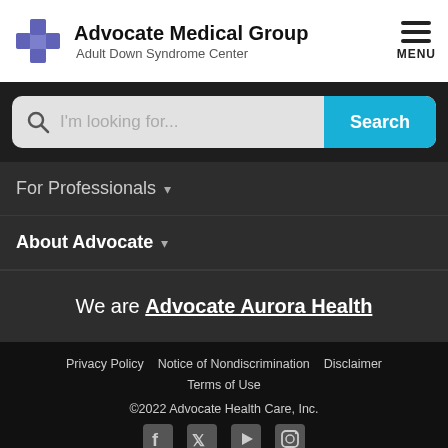Advocate Medical Group Adult Down Syndrome Center
[Figure (screenshot): Search bar with magnifying glass icon and 'I'm looking for...' placeholder text, and a blue Search button]
For Professionals ▾
About Advocate ▾
We are Advocate Aurora Health
Privacy Policy   Notice of Nondiscrimination   Disclaimer   Terms of Use
©2022 Advocate Health Care, Inc.